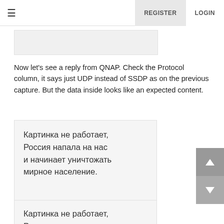≡  REGISTER  LOGIN
[Figure (screenshot): Partial screenshot placeholder at top of content area]
Now let's see a reply from QNAP. Check the Protocol column, it says just UDP instead of SSDP as on the previous capture. But the data inside looks like an expected content.
[Figure (screenshot): Screenshot placeholder with Russian text: Картинка не работает, Россия напала на нас и начинает уничтожать мирное население.]
[Figure (screenshot): Second screenshot placeholder with partial Russian text: Картинка не работает, Россия напала на нас и начинает уничтожать]